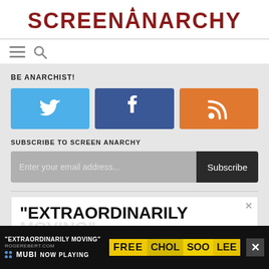SCREENANARCHY
[Figure (other): Navigation icons: hamburger menu and search magnifying glass]
BE ANARCHIST!
[Figure (other): Three social media buttons: Twitter (blue bird icon), Facebook (dark blue f icon), RSS (orange feed icon)]
SUBSCRIBE TO SCREEN ANARCHY
[Figure (other): Email subscription form with input field placeholder 'Enter your email address...' and Subscribe button]
[Figure (other): Advertisement box showing text '"EXTRAORDINARILY' with close X button]
[Figure (other): Bottom banner ad: '"EXTRAORDINARILY MOVING"' ROGEREBERT.COM, MUBI, NOW PLAYING, FREE CHOL SOO LEE with close button]